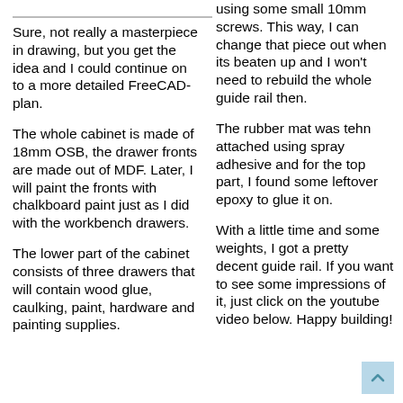Sure, not really a masterpiece in drawing, but you get the idea and I could continue on to a more detailed FreeCAD-plan.
The whole cabinet is made of 18mm OSB, the drawer fronts are made out of MDF. Later, I will paint the fronts with chalkboard paint just as I did with the workbench drawers.
The lower part of the cabinet consists of three drawers that will contain wood glue, caulking, paint, hardware and painting supplies.
using some small 10mm screws. This way, I can change that piece out when its beaten up and I won't need to rebuild the whole guide rail then.
The rubber mat was tehn attached using spray adhesive and for the top part, I found some leftover epoxy to glue it on.
With a little time and some weights, I got a pretty decent guide rail. If you want to see some impressions of it, just click on the youtube video below. Happy building!